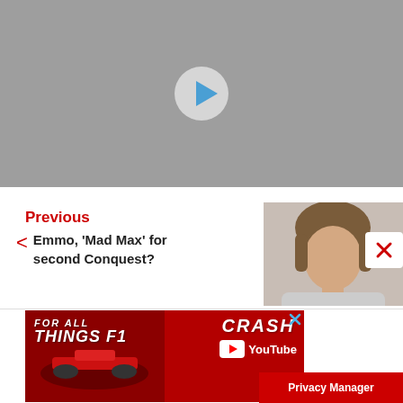[Figure (screenshot): Video player thumbnail with gray background and play button overlay]
Previous
< Emmo, 'Mad Max' for second Conquest?
[Figure (photo): Person headshot photo thumbnail on right side]
[Figure (screenshot): Advertisement banner: FOR ALL THINGS F1 - CRASH YouTube. Red background with F1 car image on left and CRASH YouTube branding on right. Blue X close button top right.]
Privacy Manager